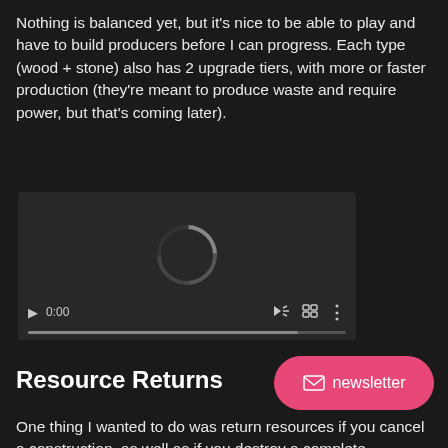Nothing is balanced yet, but it's nice to be able to play and have to build producers before I can progress. Each type (wood + stone) also has 2 upgrade tiers, with more or faster production (they're meant to produce waste and require power, but that's coming later).
[Figure (screenshot): Embedded video player showing a loading spinner, with playback controls at the bottom including play button, time display '0:00', volume icon, fullscreen icon, and more options icon. A progress bar is shown at the very bottom.]
Resource Returns
[Figure (other): Pink/red rounded rectangle newsletter subscription button with an envelope icon and the text 'newsletter']
One thing I wanted to do was return resources if you cancel a construction, as well as if you destroy a complete